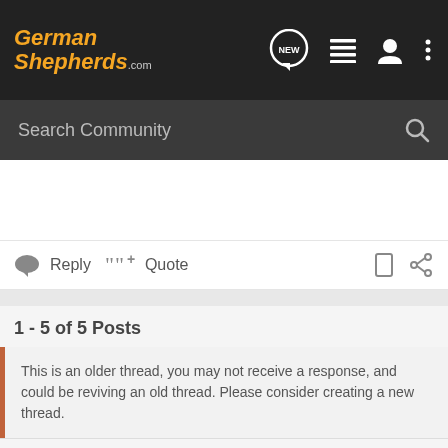GermanShepherds.com
Search Community
Reply   Quote
1 - 5 of 5 Posts
This is an older thread, you may not receive a response, and could be reviving an old thread. Please consider creating a new thread.
[Figure (screenshot): Text editor toolbar with formatting buttons: eraser, B, I, U, highlight, text size, link, image, camera, emoji, more, align; second row: list, table, undo, redo, save, settings]